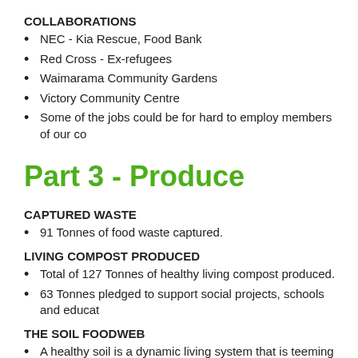COLLABORATIONS
NEC - Kia Rescue, Food Bank
Red Cross - Ex-refugees
Waimarama Community Gardens
Victory Community Centre
Some of the jobs could be for hard to employ members of our co…
Part 3 - Produce
CAPTURED WASTE
91 Tonnes of food waste captured.
LIVING COMPOST PRODUCED
Total of 127 Tonnes of healthy living compost produced.
63 Tonnes pledged to support social projects, schools and educat…
THE SOIL FOODWEB
A healthy soil is a dynamic living system that is teeming with life, t… soil are micro-organisms such as fungi, bacteria, protozoa and ne… for all of these organisms is the 'soil foodweb'.
A balanced soil foodweb provides everything plants need to thrive… the use of pesticides & fertilisers and a reduction in water requirem…